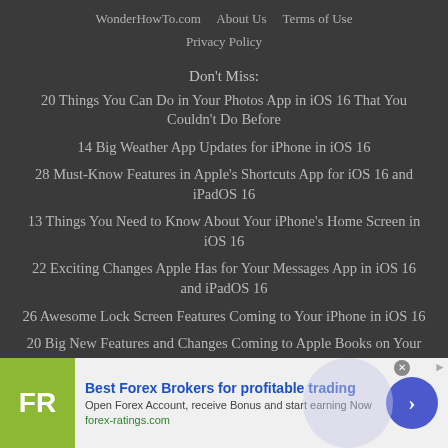WonderHowTo.com   About Us   Terms of Use
Privacy Policy
Don't Miss:
20 Things You Can Do in Your Photos App in iOS 16 That You Couldn't Do Before
14 Big Weather App Updates for iPhone in iOS 16
28 Must-Know Features in Apple's Shortcuts App for iOS 16 and iPadOS 16
13 Things You Need to Know About Your iPhone's Home Screen in iOS 16
22 Exciting Changes Apple Has for Your Messages App in iOS 16 and iPadOS 16
26 Awesome Lock Screen Features Coming to Your iPhone in iOS 16
20 Big New Features and Changes Coming to Apple Books on Your iPhone
[Figure (screenshot): Advertisement banner: FR logo (olive green), 'Best Forex Brokers for profitable trading', 'Open Forex Account, receive Bonus and start earning Now', 'forex-ratings.com', blue circle arrow button]